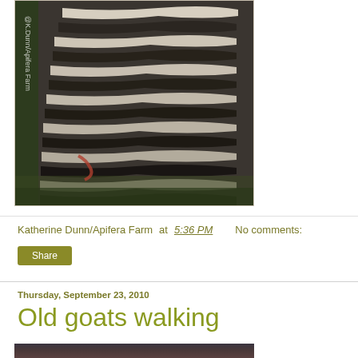[Figure (photo): Close-up photograph of a barred Plymouth Rock chicken with black and white striped feathers, standing on ground with vegetation. Watermark text reads '@K.Dunn/Apifera Farm' vertically on the left side.]
Katherine Dunn/Apifera Farm at 5:36 PM    No comments:
Share
Thursday, September 23, 2010
Old goats walking
[Figure (photo): Partial view of a photograph at the bottom of the page, showing what appears to be goats or animals in a dark setting.]